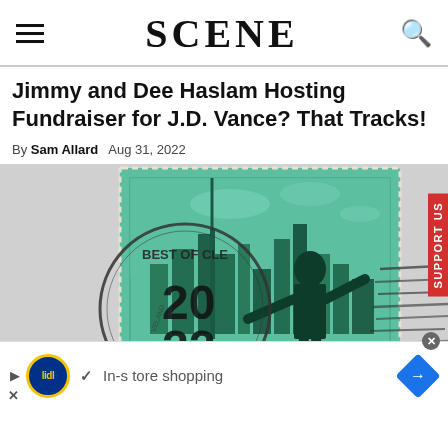SCENE
Jimmy and Dee Haslam Hosting Fundraiser for J.D. Vance? That Tracks!
By Sam Allard   Aug 31, 2022
[Figure (illustration): Decorative illustration of a postage stamp with a silhouette of a person in front of a city skyline (Cleveland), overlaid with a postmark reading 'BEST OF CLEVELAND 2022'. The stamp has a green-teal color scheme.]
In-store shopping